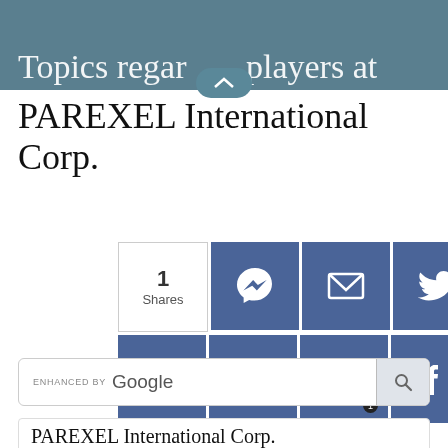Topics regarding players at PAREXEL International Corp.
PAREXEL International Corp.
[Figure (infographic): Social share buttons row: count=1 Shares, Messenger, Email, Twitter, SMS icons; second row: Reddit, LinkedIn, Viber (badge 1), Facebook, WhatsApp icons]
[Figure (screenshot): ENHANCED BY Google search bar with search button]
PAREXEL International Corp.